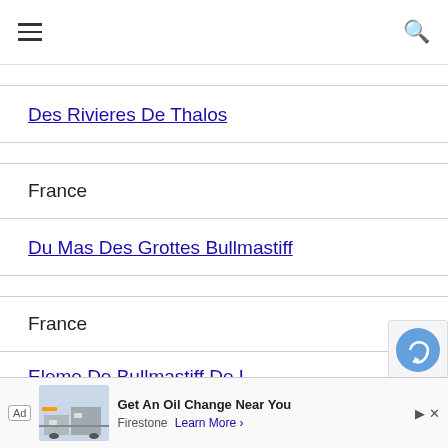Navigation bar with hamburger menu and search icon
Des Rivieres De Thalos
France
Du Mas Des Grottes Bullmastiff
France
Ele... De Bullmastiff De L... (partial)